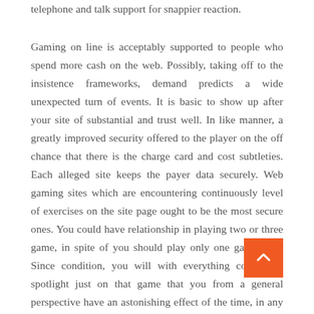telephone and talk support for snappier reaction.
Gaming on line is acceptably supported to people who spend more cash on the web. Possibly, taking off to the insistence frameworks, demand predicts a wide unexpected turn of events. It is basic to show up after your site of substantial and trust well. In like manner, a greatly improved security offered to the player on the off chance that there is the charge card and cost subtleties. Each alleged site keeps the payer data securely. Web gaming sites which are encountering continuously level of exercises on the site page ought to be the most secure ones. You could have relationship in playing two or three game, in spite of you should play only one game very. Since condition, you will with everything considered spotlight just on that game that you from a general perspective have an astonishing effect of the time, in any case that is perhaps not the most ideal way. You should for your reinforced entire of your rounds and they should be offered at one site. Taking everything into account for the long haul you can put enough centrality in that site